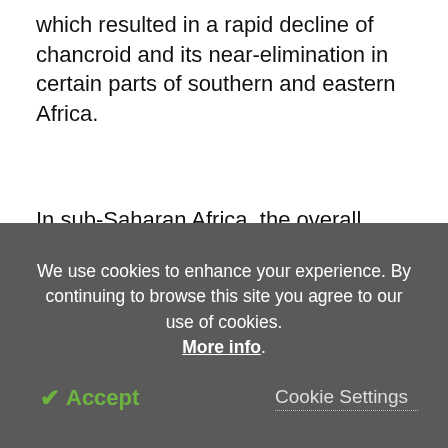which resulted in a rapid decline of chancroid and its near-elimination in certain parts of southern and eastern Africa.
In sub-Saharan Africa, the overall prevalence of chancroid in patients with genital ulcers declined from more than 60 percent in the 1970s to less than 15 percent between 2001 and 2005. Moreover, the disease was undetectable in Zambia and Kenya between 2005 and 2010.
Although the disease rates in the United States (US)
We use cookies to enhance your experience. By continuing to browse this site you agree to our use of cookies. More info.